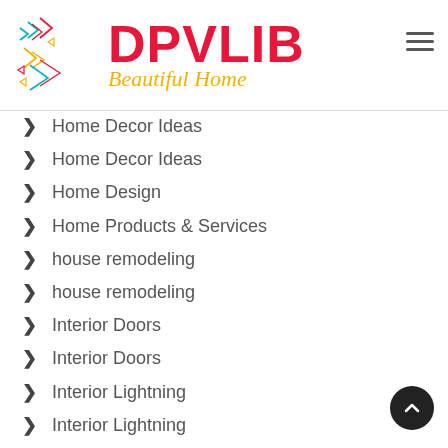[Figure (logo): DPVLIB Beautiful Home logo with geometric arrow/chevron graphic in teal, pink, and yellow, large red bold DPVLIB text, and gold italic 'Beautiful Home' subtitle]
Home Decor Ideas
Home Decor Ideas
Home Design
Home Products & Services
house remodeling
house remodeling
Interior Doors
Interior Doors
Interior Lightning
Interior Lightning